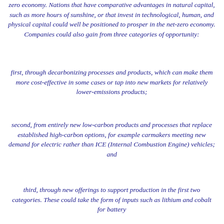zero economy. Nations that have comparative advantages in natural capital, such as more hours of sunshine, or that invest in technological, human, and physical capital could well be positioned to prosper in the net-zero economy. Companies could also gain from three categories of opportunity:
first, through decarbonizing processes and products, which can make them more cost-effective in some cases or tap into new markets for relatively lower-emissions products;
second, from entirely new low-carbon products and processes that replace established high-carbon options, for example carmakers meeting new demand for electric rather than ICE (Internal Combustion Engine) vehicles; and
third, through new offerings to support production in the first two categories. These could take the form of inputs such as lithium and cobalt for battery